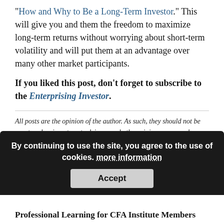“How and Why to Be a Long-Term Investor.” This will give you and them the freedom to maximize long-term returns without worrying about short-term volatility and will put them at an advantage over many other market participants.
If you liked this post, don’t forget to subscribe to the Enterprising Investor.
All posts are the opinion of the author. As such, they should not be construed as investment advice, nor do the opinions expressed necessarily reflect the views of CFA Institute or the author’s employer.
Image credit:
By continuing to use the site, you agree to the use of cookies. more information
Accept
Professional Learning for CFA Institute Members